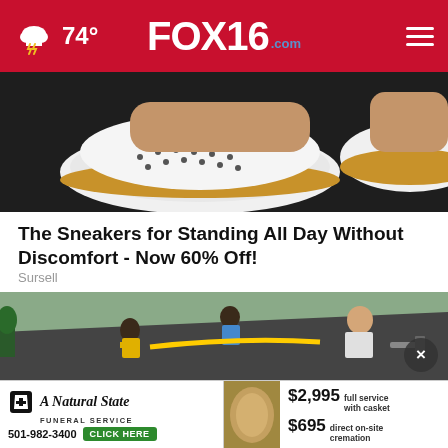FOX16.com | 74° weather
[Figure (photo): Close-up photo of white and gold perforated sneakers/slip-on shoes on pavement]
The Sneakers for Standing All Day Without Discomfort - Now 60% Off!
Sursell
[Figure (photo): Workers on a roof doing roofing work, one man with beard in foreground hammering]
[Figure (infographic): A Natural State Funeral Service advertisement banner. Phone: 501-982-3400. $2,995 full service with casket. $695 direct on-site cremation. Click Here button.]